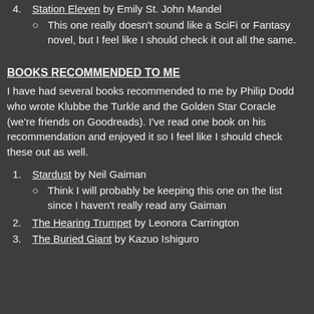4. Station Eleven by Emily St. John Mandel
This one really doesn't sound like a SciFi or Fantasy novel, but I feel like I should check it out all the same.
BOOKS RECOMMENDED TO ME
I have had several books recommended to me by Philip Dodd who wrote Klubbe the Turkle and the Golden Star Coracle (we're friends on Goodreads). I've read one book on his recommendation and enjoyed it so I feel like I should check these out as well.
1. Stardust by Neil Gaiman
Think I will probably be keeping this one on the list since I haven't really read any Gaiman
2. The Hearing Trumpet by Leonora Carrington
3. The Buried Giant by Kazuo Ishiguro